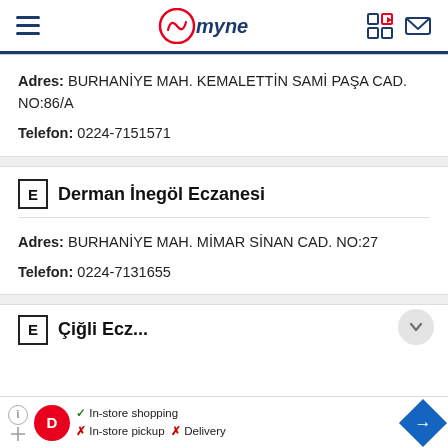mynet
Adres: BURHANİYE MAH. KEMALETTİN SAMİ PAŞA CAD. NO:86/A
Telefon: 0224-7151571
E Derman İnegöl Eczanesi
Adres: BURHANİYE MAH. MİMAR SİNAN CAD. NO:27
Telefon: 0224-7131655
[Figure (screenshot): Partially visible third pharmacy listing section at bottom]
In-store shopping  In-store pickup  Delivery advertisement banner